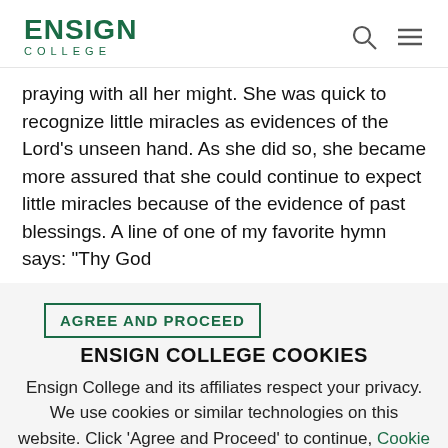ENSIGN COLLEGE
praying with all her might. She was quick to recognize little miracles as evidences of the Lord's unseen hand. As she did so, she became more assured that she could continue to expect little miracles because of the evidence of past blessings. A line of one of my favorite hymn says: "Thy God
AGREE AND PROCEED
ENSIGN COLLEGE COOKIES
Ensign College and its affiliates respect your privacy. We use cookies or similar technologies on this website. Click 'Agree and Proceed' to continue, Cookie Preferences to adjust your cookies or read our privacy policy.